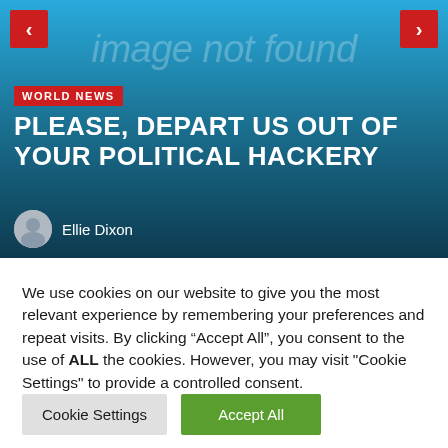[Figure (screenshot): News article hero image placeholder showing 'image not found' text with a blue-to-dark gradient background, red navigation arrows on left and right, a 'WORLD NEWS' red badge, bold white headline 'PLEASE, DEPART US OUT OF YOUR POLITICAL HACKERY', and author 'Ellie Dixon' with avatar icon.]
We use cookies on our website to give you the most relevant experience by remembering your preferences and repeat visits. By clicking “Accept All”, you consent to the use of ALL the cookies. However, you may visit "Cookie Settings" to provide a controlled consent.
Cookie Settings
Accept All